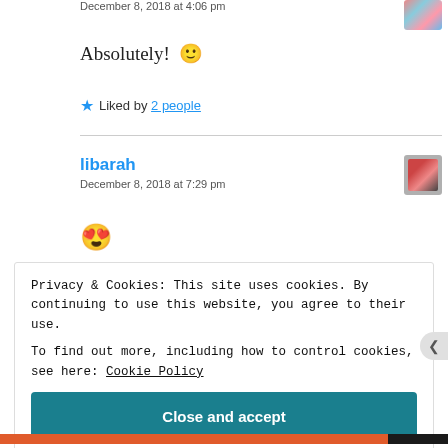December 8, 2018 at 4:06 pm
Absolutely! 🙂
★ Liked by 2 people
libarah
December 8, 2018 at 7:29 pm
😍
Privacy & Cookies: This site uses cookies. By continuing to use this website, you agree to their use.
To find out more, including how to control cookies, see here: Cookie Policy
Close and accept